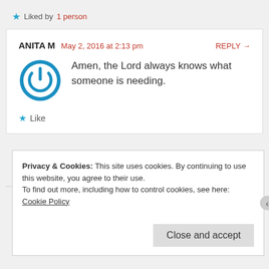★ Liked by 1 person
ANITA M  May 2, 2016 at 2:13 pm  REPLY →
Amen, the Lord always knows what someone is needing.
★ Like
Privacy & Cookies: This site uses cookies. By continuing to use this website, you agree to their use. To find out more, including how to control cookies, see here: Cookie Policy
Close and accept